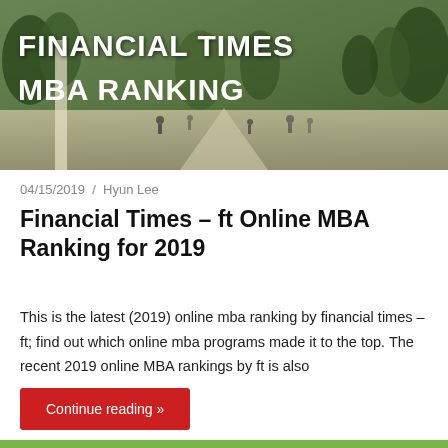[Figure (photo): Hero banner photo of Financial Times MBA Ranking with campus/crowd scene in background, white bold text overlay reading FINANCIAL TIMES MBA RANKING]
04/15/2019 / Hyun Lee
Financial Times – ft Online MBA Ranking for 2019
This is the latest (2019) online mba ranking by financial times – ft; find out which online mba programs made it to the top. The recent 2019 online MBA rankings by ft is also
Continue reading »